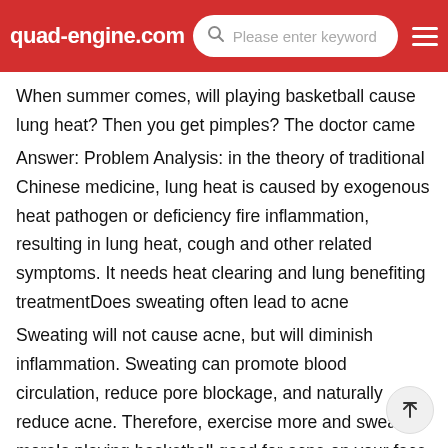quad-engine.com | Please enter keyword
When summer comes, will playing basketball cause lung heat? Then you get pimples? The doctor came
Answer: Problem Analysis: in the theory of traditional Chinese medicine, lung heat is caused by exogenous heat pathogen or deficiency fire inflammation, resulting in lung heat, cough and other related symptoms. It needs heat clearing and lung benefiting treatmentDoes sweating often lead to acne
Sweating will not cause acne, but will diminish inflammation. Sweating can promote blood circulation, reduce pore blockage, and naturally reduce acne. Therefore, exercise more and sweat moreIs playing basketball good for acne on your face
Playing basketball will not affect acne on the face. The sweat from playing basketball is the normal excretion of the human